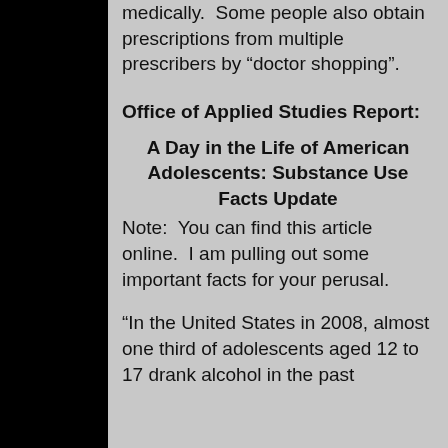medically.  Some people also obtain prescriptions from multiple prescribers by “doctor shopping”.
Office of Applied Studies Report:
A Day in the Life of American Adolescents: Substance Use Facts Update
Note:  You can find this article online.  I am pulling out some important facts for your perusal.
“In the United States in 2008, almost one third of adolescents aged 12 to 17 drank alcohol in the past